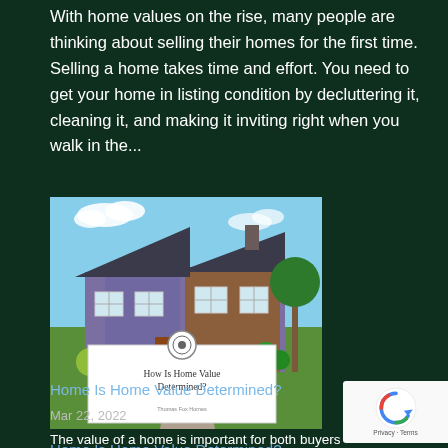With home values on the rise, many people are thinking about selling their homes for the first time. Selling a home takes time and effort. You need to get your home in listing condition by decluttering it, cleaning it, and making it inviting right when you walk in the...
[Figure (photo): Photo of a suburban house with blue/grey siding, white trim windows, landscaped yard with yellow and green bushes, overlaid with a white card reading 'How Is Home Value Determined?' with a small circular logo icon above it and 'Thomas Fox Homes' below.]
Home Is Home Value Determined?
Mar 22, 2022
The value of a home is important for both buyers